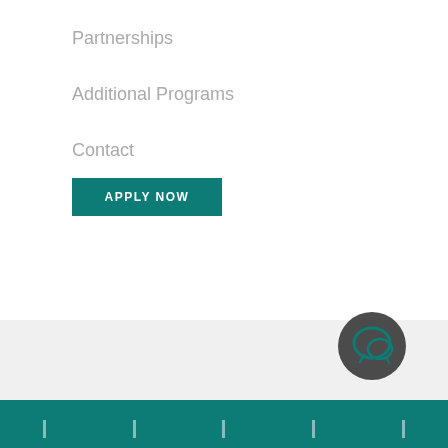Partnerships
Additional Programs
Contact
APPLY NOW
[Figure (illustration): Dark circular chat/messaging icon with teal speech bubble symbol]
Teal footer bar with social media icons